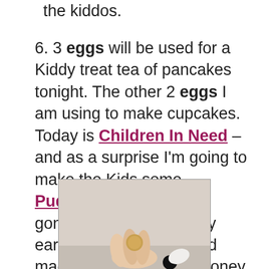the kiddos.
6. 3 eggs will be used for a Kiddy treat tea of pancakes tonight. The other 2 eggs I am using to make cupcakes. Today is Children In Need – and as a surprise I'm going to make the Kids some Pudsey Cakes! They've gone to school in Pudsey ears and spots today and made a donation. The money collected by my piggy over the year was donated!
[Figure (photo): A hand holding a coin or small object, photographed close-up against a light beige background]